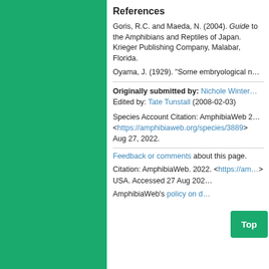References
Goris, R.C. and Maeda, N. (2004). Guide to the Amphibians and Reptiles of Japan. Krieger Publishing Company, Malabar, Florida.
Oyama, J. (1929). "Some embryological n..."
Originally submitted by: Nichole Winter... Edited by: Tate Tunstall (2008-02-03)
Species Account Citation: AmphibiaWeb 2... <https://amphibiaweb.org/species/3889> Aug 27, 2022.
Feedback or comments about this page.
Citation: AmphibiaWeb. 2022. <https://am... USA. Accessed 27 Aug 2022.
AmphibiaWeb's policy on d...